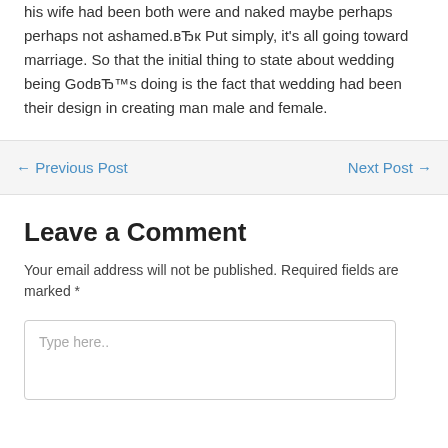his wife had been both were and naked maybe perhaps perhaps not ashamed.вЂк Put simply, it's all going toward marriage. So that the initial thing to state about wedding being GodвЂ™s doing is the fact that wedding had been their design in creating man male and female.
← Previous Post   Next Post →
Leave a Comment
Your email address will not be published. Required fields are marked *
Type here..